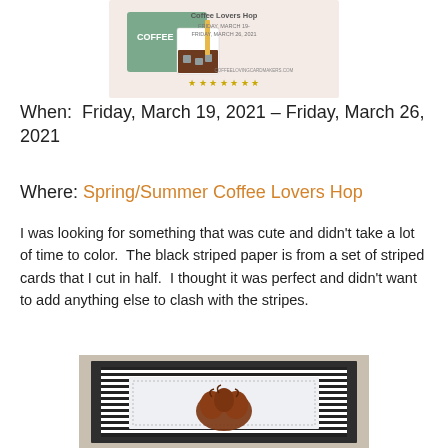[Figure (illustration): Coffee Lovers Hop banner image showing an iced coffee cup with straw, green card, text 'Coffee Lovers Hop Friday, March 19 - Friday, March 26 2021', website URL, and gold star decorations]
When:  Friday, March 19, 2021 – Friday, March 26, 2021
Where: Spring/Summer Coffee Lovers Hop
I was looking for something that was cute and didn't take a lot of time to color.  The black striped paper is from a set of striped cards that I cut in half.  I thought it was perfect and didn't want to add anything else to clash with the stripes.
[Figure (photo): Handmade card showing a figure with curly auburn hair on a white background with black and white striped border, set against a dark charcoal card base displayed on a wooden surface]